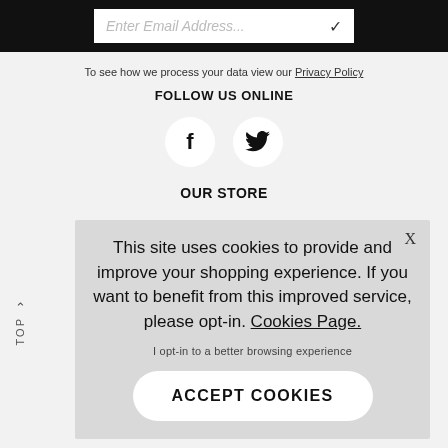[Figure (screenshot): Email input field with placeholder text 'Enter Email Address...' and a checkmark icon, on a black background bar]
To see how we process your data view our Privacy Policy
FOLLOW US ONLINE
[Figure (illustration): Two circular white social media icons: Facebook (f) and Twitter (bird)]
OUR STORE
This site uses cookies to provide and improve your shopping experience. If you want to benefit from this improved service, please opt-in. Cookies Page.

I opt-in to a better browsing experience

ACCEPT COOKIES